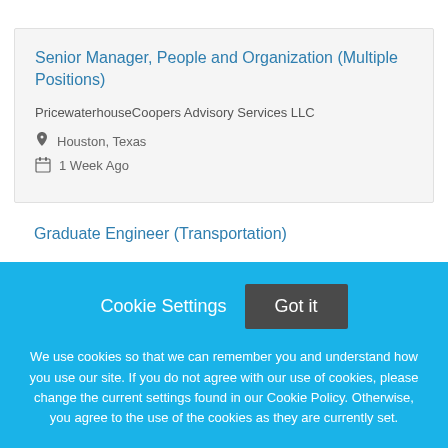Senior Manager, People and Organization (Multiple Positions)
PricewaterhouseCoopers Advisory Services LLC
Houston, Texas
1 Week Ago
Graduate Engineer (Transportation)
Cookie Settings
Got it
We use cookies so that we can remember you and understand how you use our site. If you do not agree with our use of cookies, please change the current settings found in our Cookie Policy. Otherwise, you agree to the use of the cookies as they are currently set.